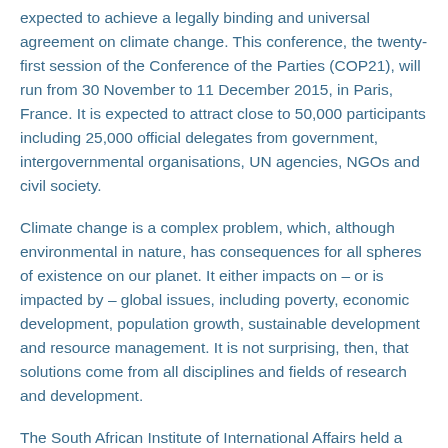expected to achieve a legally binding and universal agreement on climate change. This conference, the twenty-first session of the Conference of the Parties (COP21), will run from 30 November to 11 December 2015, in Paris, France. It is expected to attract close to 50,000 participants including 25,000 official delegates from government, intergovernmental organisations, UN agencies, NGOs and civil society.
Climate change is a complex problem, which, although environmental in nature, has consequences for all spheres of existence on our planet. It either impacts on – or is impacted by – global issues, including poverty, economic development, population growth, sustainable development and resource management. It is not surprising, then, that solutions come from all disciplines and fields of research and development.
The South African Institute of International Affairs held a media briefing on 25 November 2015 on COP21.